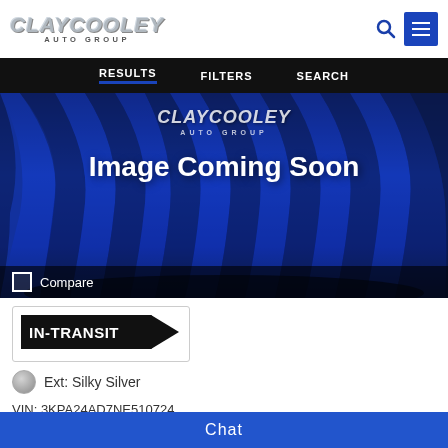[Figure (logo): Clay Cooley Auto Group logo in silver/gray metallic italic text with 'AUTO GROUP' subtitle]
RESULTS   FILTERS   SEARCH
[Figure (photo): Car dealership placeholder image with blue draped curtain background, Clay Cooley Auto Group logo overlay, and 'Image Coming Soon' text]
Compare
[Figure (other): IN-TRANSIT badge — black arrow-shaped label with white text]
Ext: Silky Silver
VIN: 3KPA24AD7NE510724
Chat